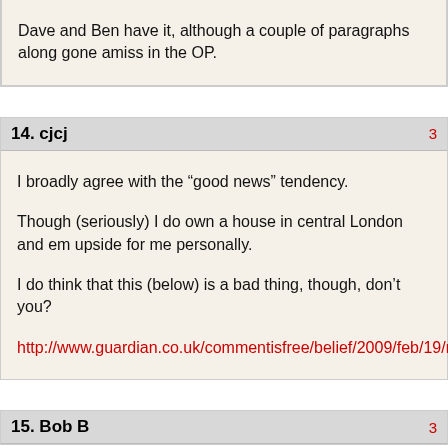Dave and Ben have it, although a couple of paragraphs along gone amiss in the OP.
14. cjcj
I broadly agree with the “good news” tendency.

Though (seriously) I do own a house in central London and en upside for me personally.

I do think that this (below) is a bad thing, though, don’t you?

http://www.guardian.co.uk/commentisfree/belief/2009/feb/19/ru
15. Bob B